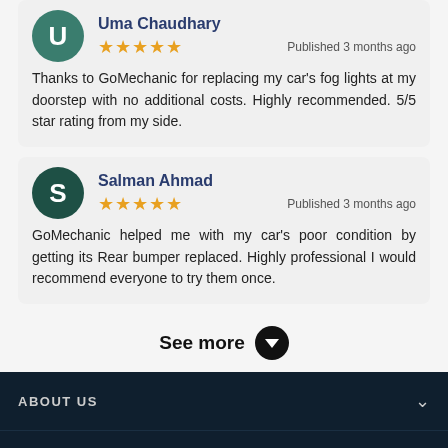Uma Chaudhary
★★★★★ Published 3 months ago
Thanks to GoMechanic for replacing my car's fog lights at my doorstep with no additional costs. Highly recommended. 5/5 star rating from my side.
Salman Ahmad
★★★★★ Published 3 months ago
GoMechanic helped me with my car's poor condition by getting its Rear bumper replaced. Highly professional I would recommend everyone to try them once.
See more
ABOUT US
OUR SERVICES